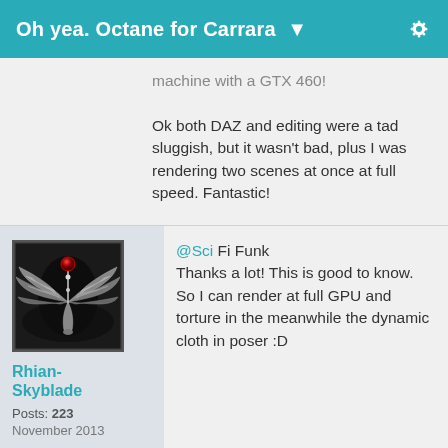Oh yea. Octane for Carrara
machine with a GTX 460!

Ok both DAZ and editing were a tad sluggish, but it wasn't bad, plus I was rendering two scenes at once at full speed. Fantastic!
[Figure (photo): User avatar image showing a silver winged emblem with a red gem on a dark background]
Rhian-Skyblade
Posts: 223
November 2013
@Sci Fi Funk
Thanks a lot! This is good to know. So I can render at full GPU and torture in the meanwhile the dynamic cloth in poser :D